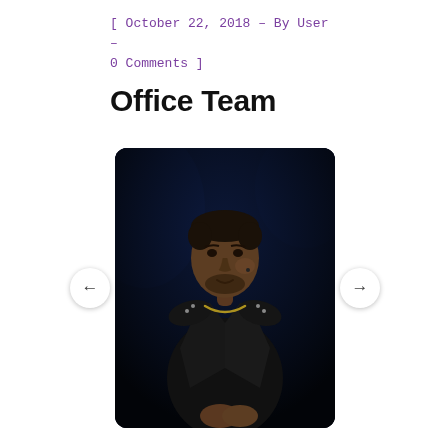[ October 22, 2018 – By User – 0 Comments ]
Office Team
[Figure (photo): A man in a black leather jacket with a gold chain necklace, standing on a dark stage with blue lighting in the background, looking slightly to the right and smiling. He appears to be a speaker or presenter.]